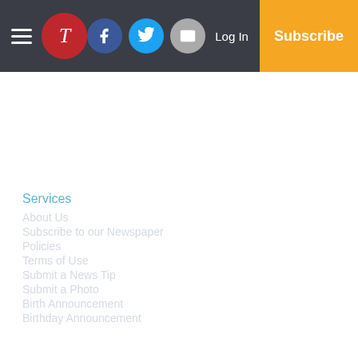Navigation header with logo, social icons, Log In, and Subscribe
Services
About Us
Subscribe to our Newspaper
Policies
Terms of Use
Submit a News Tip
Submit a Photo
Birth Announcement
Birthday Announcement
Engagement Announcement
Wedding Announcement
Copyright
© 2022, The Tidewater News